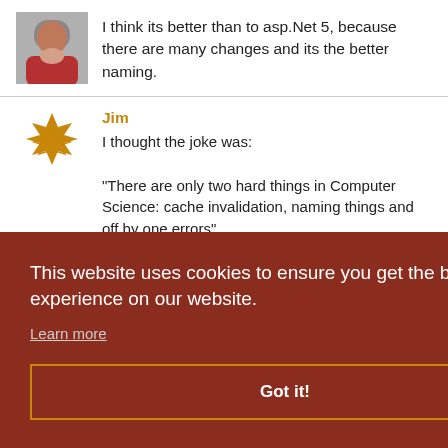I think its better than to asp.Net 5, because there are many changes and its the better naming.
Jim
I thought the joke was:
"There are only two hard things in Computer Science: cache invalidation, naming things and off by one errors".
This website uses cookies to ensure you get the best experience on our website.
Learn more
Got it!